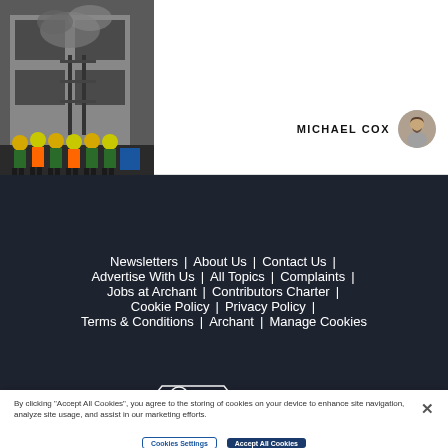[Figure (photo): Firefighters in high-visibility gear attending an incident outside a building with smoke visible]
MICHAEL COX
Newsletters | About Us | Contact Us | Advertise With Us | All Topics | Complaints | Jobs at Archant | Contributors Charter | Cookie Policy | Privacy Policy | Terms & Conditions | Archant | Manage Cookies
[Figure (logo): IPSO Regulated logo badge]
By clicking “Accept All Cookies”, you agree to the storing of cookies on your device to enhance site navigation, analyze site usage, and assist in our marketing efforts.
Cookies Settings
Accept All Cookies